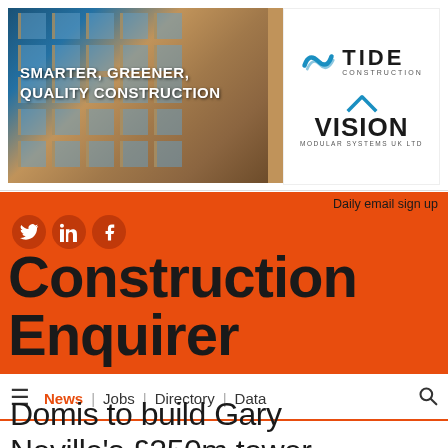[Figure (photo): Banner advertisement showing a modern brick building facade with blue sky and text 'SMARTER, GREENER, QUALITY CONSTRUCTION'. Right side shows Tide Construction and Vision Modular Systems UK Ltd logos.]
Daily email sign up
Construction Enquirer
[Figure (logo): Social media icons: Twitter, LinkedIn, Facebook in dark orange circles]
News | Jobs | Directory | Data
Domis to build Gary Neville's £250m tower